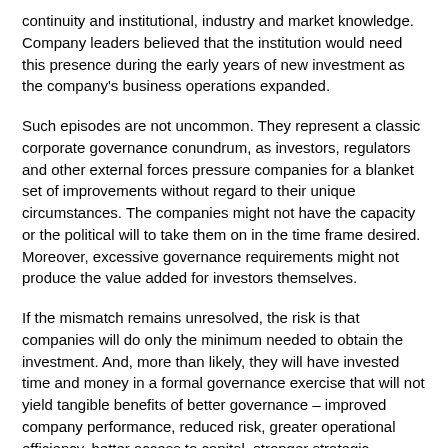continuity and institutional, industry and market knowledge. Company leaders believed that the institution would need this presence during the early years of new investment as the company's business operations expanded.
Such episodes are not uncommon. They represent a classic corporate governance conundrum, as investors, regulators and other external forces pressure companies for a blanket set of improvements without regard to their unique circumstances. The companies might not have the capacity or the political will to take them on in the time frame desired. Moreover, excessive governance requirements might not produce the value added for investors themselves.
If the mismatch remains unresolved, the risk is that companies will do only the minimum needed to obtain the investment. And, more than likely, they will have invested time and money in a formal governance exercise that will not yield tangible benefits of better governance – improved company performance, reduced risk, greater operational efficiency, better access to capital, stronger strategic decision making and increased shareholder value, among them.